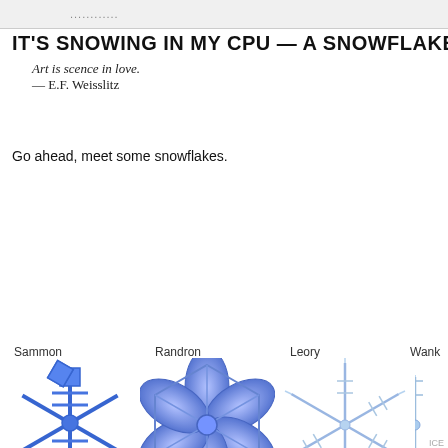............
IT'S SNOWING IN MY CPU — A SNOWFLAKE CATA
Art is scence in love.
— E.F. Weisslitz
Go ahead, meet some snowflakes.
[Figure (illustration): Six named snowflake illustrations arranged in two rows of three (plus partial fourth column): Row 1: Sammon (blue geometric cube-like snowflake), Randron (blue hexagonal petal snowflake), Leory (thin needle-like star snowflake), Wank (partial, cut off). Row 2: Jarkiul (light blue delicate dendrite snowflake), Machon (thin pointed star snowflake), Sunetta (dark blue chunky geometric snowflake).]
ICE